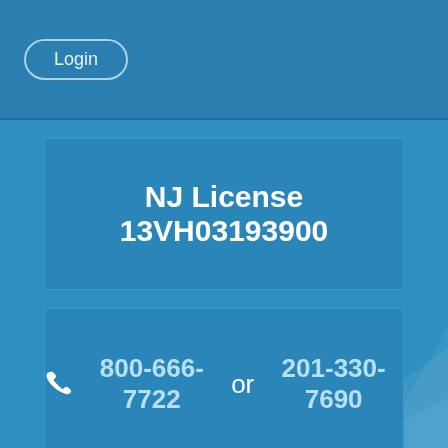Login
NJ License 13VH03193900
800-666-7722 or 201-330-7690
Copyright © 2013 Diamond HVAC, Inc.
website development by eMediaNation.com